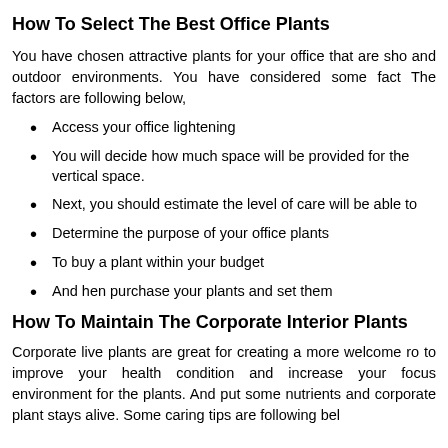How To Select The Best Office Plants
You have chosen attractive plants for your office that are sho and outdoor environments. You have considered some fact The factors are following below,
Access your office lightening
You will decide how much space will be provided for the vertical space.
Next, you should estimate the level of care will be able to
Determine the purpose of your office plants
To buy a plant within your budget
And hen purchase your plants and set them
How To Maintain The Corporate Interior Plants
Corporate live plants are great for creating a more welcome ro to improve your health condition and increase your focus environment for the plants. And put some nutrients and corporate plant stays alive. Some caring tips are following bel